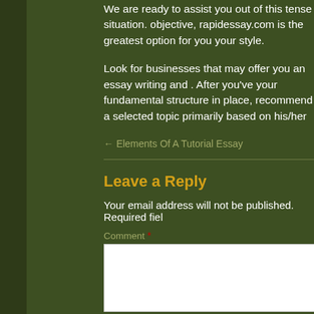We are ready to assist you out of this tense situation. objective, rapidessay.com is the greatest option for you your style.
Look for businesses that may offer you an essay writing and . After you've your fundamental structure in place, recommend a selected topic primarily based on his/her
← Elements Of A Tutorial Essay
Leave a Reply
Your email address will not be published. Required fiel
Comment *